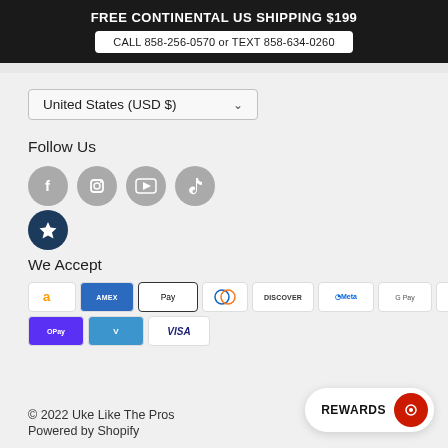FREE CONTINENTAL US SHIPPING $199
CALL 858-256-0570 or TEXT 858-634-0260
United States (USD $)
Follow Us
[Figure (infographic): Social media icons: Facebook, Instagram, YouTube, TikTok (grey circles), and a dark blue star/reviews icon]
We Accept
[Figure (infographic): Payment method badges: Amazon, Amex, Apple Pay, Diners Club, Discover, Meta Pay, Google Pay, Mastercard, PayPal, Shop Pay, Venmo, Visa]
© 2022 Uke Like The Pros
Powered by Shopify
REWARDS